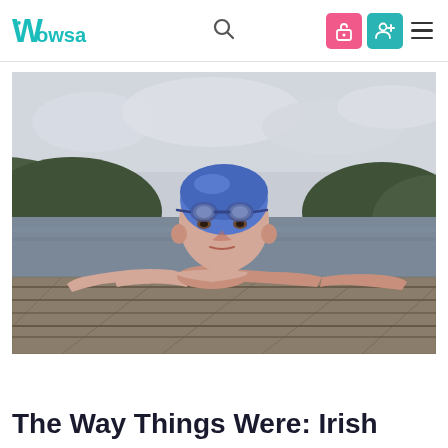Wowsa [logo] [search] [icons] [menu]
[Figure (photo): A male open water swimmer wearing a blue swim cap and goggles, resting his chin on crossed arms on a wooden dock, with a lake and tree-covered hills in the background under a cloudy sky.]
The Way Things Were: Irish